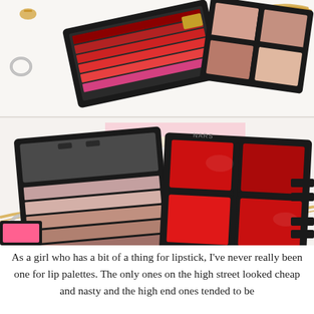[Figure (photo): Two-part photo of cosmetic lip palettes and makeup accessories on a white surface. Top portion shows a red lipstick strip palette and a nude/blush 6-pan compact with gold jewelry. Bottom portion shows a mauve/nude strip palette on the left and a red 6-pan lipstick compact on the right, with gold chain, rings, and fashion illustration visible.]
As a girl who has a bit of a thing for lipstick, I've never really been one for lip palettes. The only ones on the high street looked cheap and nasty and the high end ones tended to be